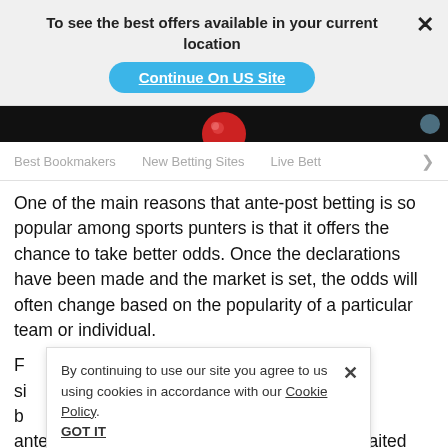To see the best offers available in your current location
Continue On US Site
[Figure (screenshot): Hero image strip with dark background and partial view of a red snooker/pool ball]
Best Bookmakers   New Betting Sites   Live Bett >
One of the main reasons that ante-post betting is so popular among sports punters is that it offers the chance to take better odds. Once the declarations have been made and the market is set, the odds will often change based on the popularity of a particular team or individual.
By continuing to use our site you agree to us using cookies in accordance with our Cookie Policy.
GOT IT
Fo[r...] football betting si[tes...] ld be a threat b[...] ould place an ante-post bet on them at 10/1. If you'd have waited